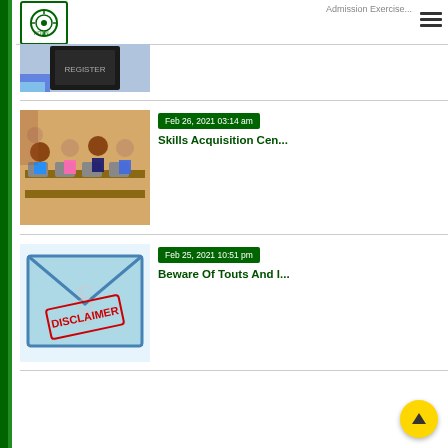University website header with logo and hamburger menu
[Figure (photo): Photo of students in a sewing/tailoring room with sewing machines, smiling at the camera]
Feb 26, 2021 03:14 am
Skills Acquisition Cen...
[Figure (photo): Disclaimer envelope image with a red stamp reading DISCLAIMER and a section symbol watermark]
Feb 25, 2021 10:51 pm
Beware Of Touts And I...